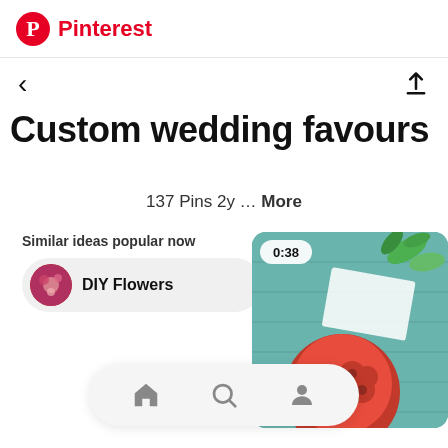Pinterest
< (back arrow) and share icon
Custom wedding favours
137 Pins 2y ... More
Similar ideas popular now
DIY Flowers
[Figure (photo): Video thumbnail showing red paper roses bouquet with timer 0:38, on teal wooden background with green leaves and a card]
[Figure (screenshot): Bottom navigation bar with home, search, and profile icons]